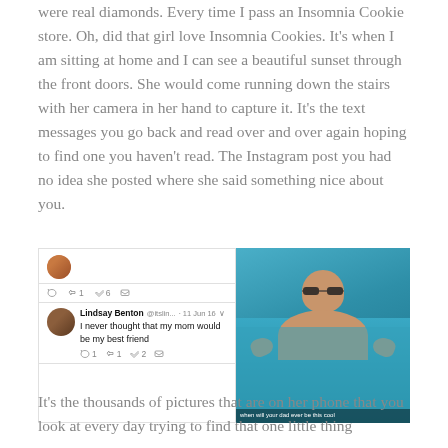were real diamonds. Every time I pass an Insomnia Cookie store. Oh, did that girl love Insomnia Cookies. It's when I am sitting at home and I can see a beautiful sunset through the front doors. She would come running down the stairs with her camera in her hand to capture it. It's the text messages you go back and read over and over again hoping to find one you haven't read. The Instagram post you had no idea she posted where she said something nice about you.
[Figure (screenshot): A screenshot of a Twitter/X conversation showing a tweet with icons (reply, retweet 1, like 6, message), and a reply from Lindsay Benton @itslin... on 11 Jun 16 saying 'I never thought that my mom would be my best friend' with reply 1, retweet 1, like 2, message icons. Next to it is a photo of a man in a swimming pool wearing sunglasses and making hand gestures, with caption 'when will your dad ever be this cool'.]
It's the thousands of pictures that are on her phone that you look at every day trying to find that one little thing